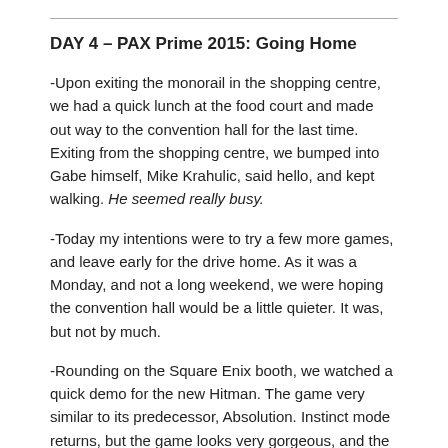DAY 4 – PAX Prime 2015: Going Home
-Upon exiting the monorail in the shopping centre, we had a quick lunch at the food court and made out way to the convention hall for the last time. Exiting from the shopping centre, we bumped into Gabe himself, Mike Krahulic, said hello, and kept walking. He seemed really busy.
-Today my intentions were to try a few more games, and leave early for the drive home. As it was a Monday, and not a long weekend, we were hoping the convention hall would be a little quieter. It was, but not by much.
-Rounding on the Square Enix booth, we watched a quick demo for the new Hitman. The game very similar to its predecessor, Absolution. Instinct mode returns, but the game looks very gorgeous, and the levels are huge. The game promises more open ended levels and more free-play, reminiscent of the earlier Hitman games, like Blood Money. Costumes still play a large role, as they allow us